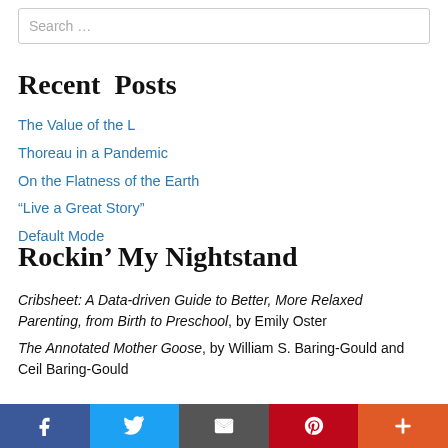Search …
Recent Posts
The Value of the L
Thoreau in a Pandemic
On the Flatness of the Earth
“Live a Great Story”
Default Mode
Rockin’ My Nightstand
Cribsheet: A Data-driven Guide to Better, More Relaxed Parenting, from Birth to Preschool, by Emily Oster
The Annotated Mother Goose, by William S. Baring-Gould and Ceil Baring-Gould